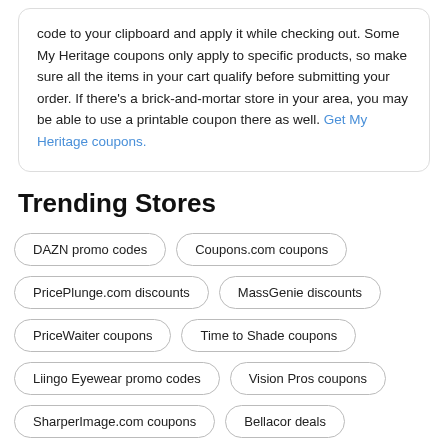code to your clipboard and apply it while checking out. Some My Heritage coupons only apply to specific products, so make sure all the items in your cart qualify before submitting your order. If there's a brick-and-mortar store in your area, you may be able to use a printable coupon there as well. Get My Heritage coupons.
Trending Stores
DAZN promo codes
Coupons.com coupons
PricePlunge.com discounts
MassGenie discounts
PriceWaiter coupons
Time to Shade coupons
Liingo Eyewear promo codes
Vision Pros coupons
SharperImage.com coupons
Bellacor deals
Loft deals
The Corner Stork Baby Gifts discounts